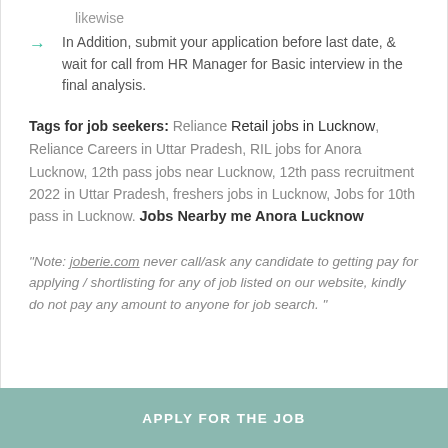likewise
In Addition, submit your application before last date, & wait for call from HR Manager for Basic interview in the final analysis.
Tags for job seekers: Reliance Retail jobs in Lucknow, Reliance Careers in Uttar Pradesh, RIL jobs for Anora Lucknow, 12th pass jobs near Lucknow, 12th pass recruitment 2022 in Uttar Pradesh, freshers jobs in Lucknow, Jobs for 10th pass in Lucknow. Jobs Nearby me Anora Lucknow
"Note: joberie.com never call/ask any candidate to getting pay for applying / shortlisting for any of job listed on our website, kindly do not pay any amount to anyone for job search. "
APPLY FOR THE JOB